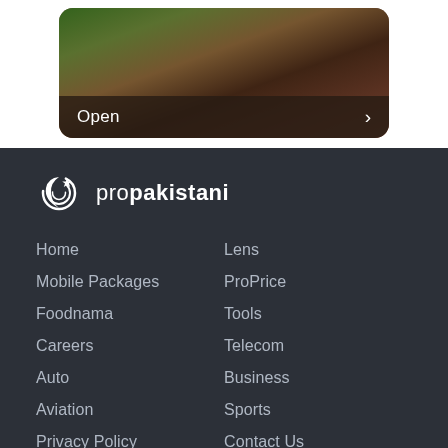[Figure (photo): A photo of two smiling people with an 'Open' button bar overlay and a right arrow]
[Figure (logo): ProPakistani logo with crescent moon/star icon and text 'propakistani']
Home
Lens
Mobile Packages
ProPrice
Foodnama
Tools
Careers
Telecom
Auto
Business
Aviation
Sports
Privacy Policy
Contact Us